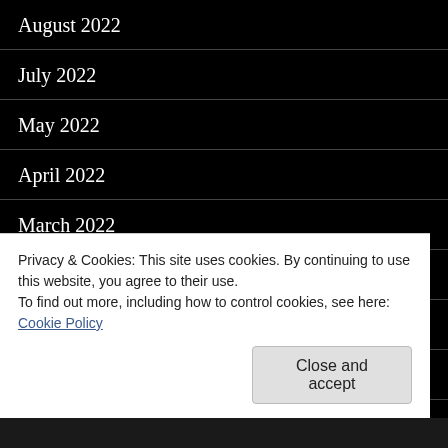August 2022
July 2022
May 2022
April 2022
March 2022
January 2022
December 2021
November 2021
Privacy & Cookies: This site uses cookies. By continuing to use this website, you agree to their use.
To find out more, including how to control cookies, see here:
Cookie Policy
Close and accept